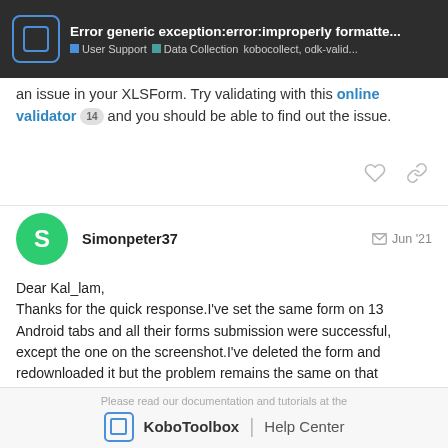Error generic exception:error:improperly formatte... | User Support | Data Collection | kobocollect, odk-valid...
an issue in your XLSForm. Try validating with this online validator 14 and you should be able to find out the issue.
Simonpeter37 Jun '21
Dear Kal_lam,
Thanks for the quick response.I've set the same form on 13 Android tabs and all their forms submission were successful, except the one on the screenshot.I've deleted the form and redownloaded it but the problem remains the same on that particular android tab.The surprising part is that,out of 25 forms from the same versions, these 4 forms are the only ones displaying these errors.
Please read our documentation and tutorials at the KoboToolbox | Help Center